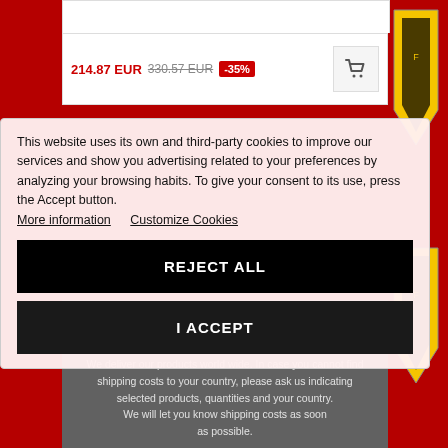214.87 EUR 330.57 EUR -35%
This website uses its own and third-party cookies to improve our services and show you advertising related to your preferences by analyzing your browsing habits. To give your consent to its use, press the Accept button. More information   Customize Cookies
REJECT ALL
I ACCEPT
delivery
We deliver our products world wide. In case you cannot find shipping costs to your country, please ask us indicating selected products, quantities and your country. We will let you know shipping costs as soon as possible.